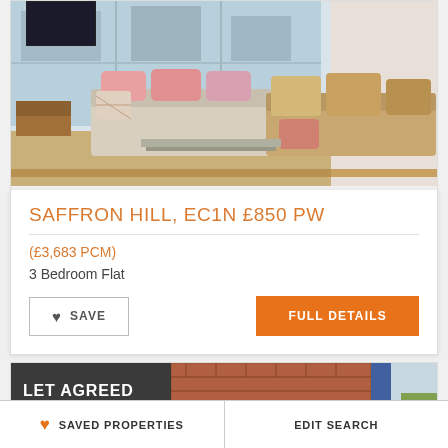[Figure (photo): Interior photo of a modern living room with cream sofas, pink and tan cushions, large floor-to-ceiling windows with city view outside, wooden floor]
SAFFRON HILL, EC1N £850 PW
(£3,683 PCM)
3 Bedroom Flat
SAVE
FULL DETAILS
LET AGREED
SAVED PROPERTIES
EDIT SEARCH